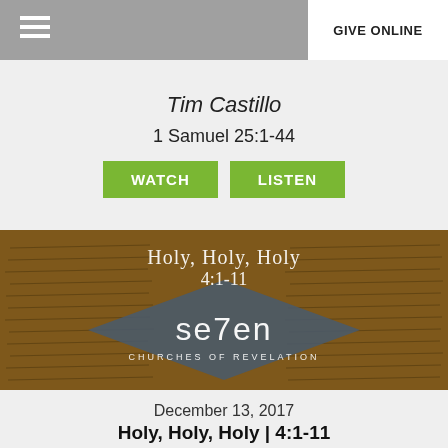GIVE ONLINE
Tim Castillo
1 Samuel 25:1-44
WATCH   LISTEN
[Figure (photo): Background image of ancient manuscript/Dead Sea Scrolls with Hebrew text, overlaid with a diamond-shaped dark gray logo area showing 'se7en CHURCHES OF REVELATION' and text 'Holy, Holy, Holy 4:1-11' in white letters]
December 13, 2017
Holy, Holy, Holy | 4:1-11